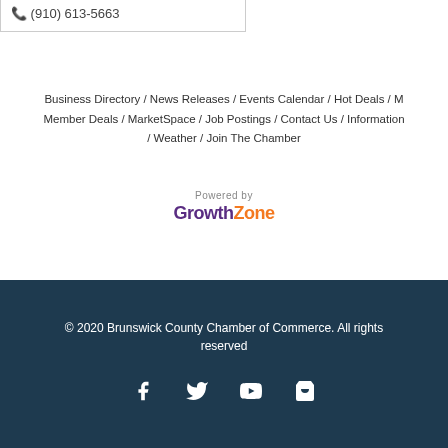(910) 613-5663
Business Directory / News Releases / Events Calendar / Hot Deals / Member Deals / MarketSpace / Job Postings / Contact Us / Information / Weather / Join The Chamber
[Figure (logo): GrowthZone logo with 'Powered by' text above. 'Growth' in purple bold text, 'Zone' in orange bold text.]
© 2020 Brunswick County Chamber of Commerce. All rights reserved
[Figure (infographic): Social media icons: Facebook, Twitter, YouTube, shopping cart — white icons on dark navy background]